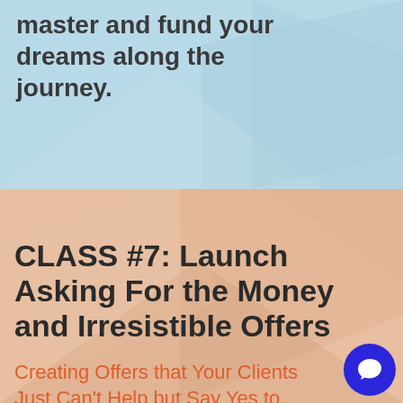master and fund your dreams along the journey.
CLASS #7: Launch Asking For the Money and Irresistible Offers
Creating Offers that Your Clients Just Can't Help but Say Yes to, Over and Over Again.